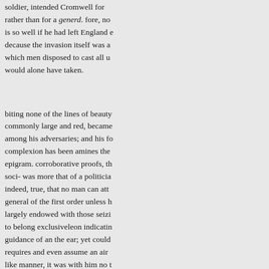soldier, intended Cromwell for a rather than for a generd. fore, no is so well if he had left England e decause the invasion itself was a which men disposed to cast all u would alone have taken.
biting none of the lines of beauty commonly large and red, became among his adversaries; and his fo complexion has been amines the epigram. corroborative proofs, th soci- was more that of a politicia indeed, true, that no man can att general of the first order unless h largely endowed with those seizi to belong exclusiveleon indicatin guidance of an the ear; yet could requires and even assume an air like manner, it was with him no t intermingle, in the most extraord seriousness, In the midst of Cron council he would sud- military co